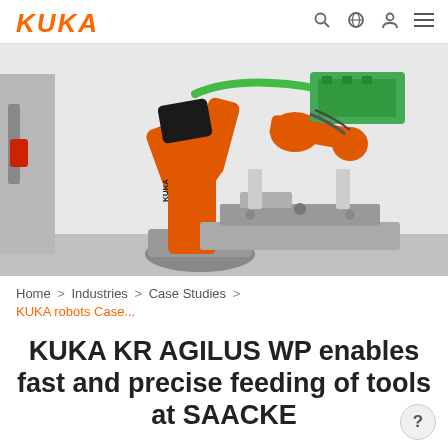KUKA
[Figure (photo): Orange KUKA KR AGILUS WP industrial robot arm working on a metal component/fixture in a white industrial setting, with green tubing and a machining tool end-effector]
Home > Industries > Case Studies > KUKA robots Case...
KUKA KR AGILUS WP enables fast and precise feeding of tools at SAACKE